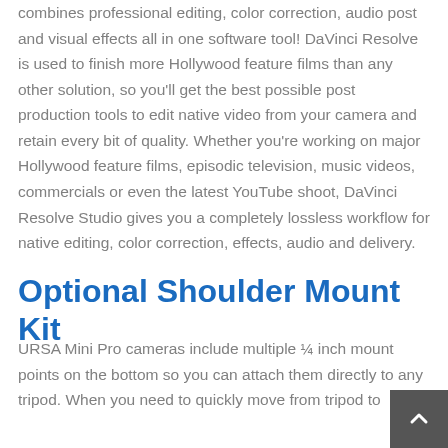combines professional editing, color correction, audio post and visual effects all in one software tool! DaVinci Resolve is used to finish more Hollywood feature films than any other solution, so you'll get the best possible post production tools to edit native video from your camera and retain every bit of quality. Whether you're working on major Hollywood feature films, episodic television, music videos, commercials or even the latest YouTube shoot, DaVinci Resolve Studio gives you a completely lossless workflow for native editing, color correction, effects, audio and delivery.
Optional Shoulder Mount Kit
URSA Mini Pro cameras include multiple ¼ inch mount points on the bottom so you can attach them directly to any tripod. When you need to quickly move from tripod to